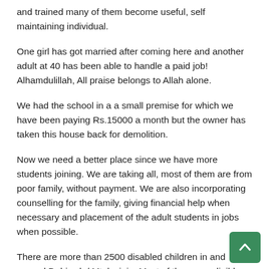and trained many of them become useful, self maintaining individual.
One girl has got married after coming here and another adult at 40 has been able to handle a paid job! Alhamdulillah, All praise belongs to Allah alone.
We had the school in a a small premise for which we have been paying Rs.15000 a month but the owner has taken this house back for demolition.
Now we need a better place since we have more students joining. We are taking all, most of them are from poor family, without payment. We are also incorporating counselling for the family, giving financial help when necessary and placement of the adult students in jobs when possible.
There are more than 2500 disabled children in and around Dehiwela/ Mt. lavinia. Most of them are eligible for zakath too.